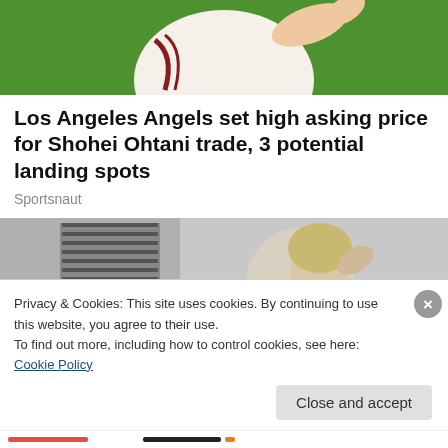[Figure (photo): Partial view of a baseball pitcher in white uniform with red stripe, green background, cropped to show torso/arm]
Los Angeles Angels set high asking price for Shohei Ohtani trade, 3 potential landing spots
Sportsnaut
[Figure (photo): Black and white vintage photo of a woman in an apron, hand raised to forehead, standing in a kitchen]
Privacy & Cookies: This site uses cookies. By continuing to use this website, you agree to their use.
To find out more, including how to control cookies, see here: Cookie Policy